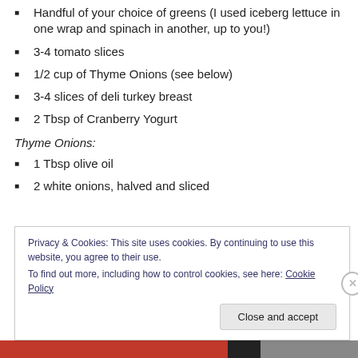Handful of your choice of greens (I used iceberg lettuce in one wrap and spinach in another, up to you!)
3-4 tomato slices
1/2 cup of Thyme Onions (see below)
3-4 slices of deli turkey breast
2 Tbsp of Cranberry Yogurt
Thyme Onions:
1 Tbsp olive oil
2 white onions, halved and sliced
Privacy & Cookies: This site uses cookies. By continuing to use this website, you agree to their use.
To find out more, including how to control cookies, see here: Cookie Policy
Close and accept